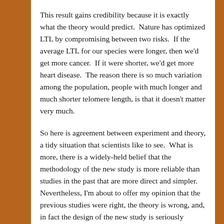This result gains credibility because it is exactly what the theory would predict.  Nature has optimized LTL by compromising between two risks.  If the average LTL for our species were longer, then we'd get more cancer.  If it were shorter, we'd get more heart disease.  The reason there is so much variation among the population, people with much longer and much shorter telomere length, is that it doesn't matter very much.
So here is agreement between experiment and theory, a tidy situation that scientists like to see.  What is more, there is a widely-held belief that the methodology of the new study is more reliable than studies in the past that are more direct and simpler.  Nevertheless, I'm about to offer my opinion that the previous studies were right, the theory is wrong, and, in fact the design of the new study is seriously flawed.
This was the latest and far the largest in a series of GWAS studies going back four years [ref, ref, ref].  GWAS stands for Genome-Wide Association Study.  The idea is